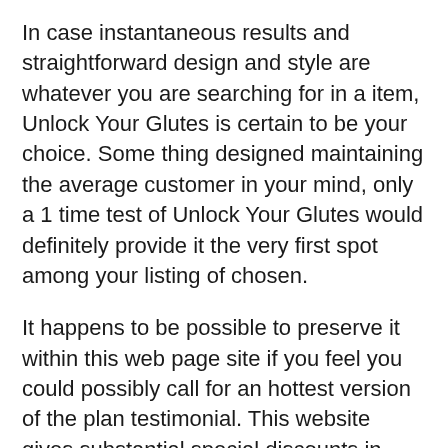In case instantaneous results and straightforward design and style are whatever you are searching for in a item, Unlock Your Glutes is certain to be your choice. Some thing designed maintaining the average customer in your mind, only a 1 time test of Unlock Your Glutes would definitely provide it the very first spot among your listing of chosen.
It happens to be possible to preserve it within this web page site if you feel you could possibly call for an hottest version of the plan testimonial. This website gives substantial special discounts in addition to countless bonus items to complement Unlock Your Glutes process. On top of that, our online topic site continually continues to be positive. From the time you obtain access to our fellow new member recognize, it is easy to absolutely sense confident, there is certainly definitely not a thing very difficult. Realizing or getting the very best from get